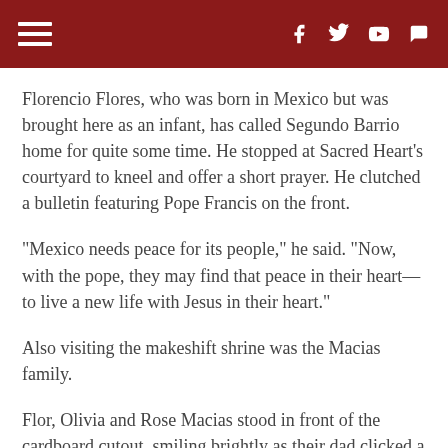Navigation header with hamburger menu and social icons (Facebook, Twitter, YouTube, chat)
Florencio Flores, who was born in Mexico but was brought here as an infant, has called Segundo Barrio home for quite some time. He stopped at Sacred Heart's courtyard to kneel and offer a short prayer. He clutched a bulletin featuring Pope Francis on the front.
"Mexico needs peace for its people," he said. "Now, with the pope, they may find that peace in their heart—to live a new life with Jesus in their heart."
Also visiting the makeshift shrine was the Macias family.
Flor, Olivia and Rose Macias stood in front of the cardboard cutout, smiling brightly as their dad clicked a cellphone photo.
It is as close as most will get to the pope himself, but that doesn't dampen their excitement for his visit to the border area.